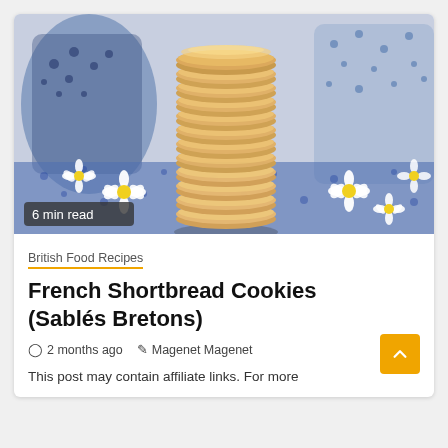[Figure (photo): Stack of round French shortbread cookies (Sablés Bretons) piled high, with white and yellow daisy flowers arranged around the base on a blue floral cloth, and blue and white mugs in the background. A dark badge reads '6 min read' in the lower left.]
6 min read
British Food Recipes
French Shortbread Cookies (Sablés Bretons)
⊙ 2 months ago   ✎ Magenet Magenet
This post may contain affiliate links. For more